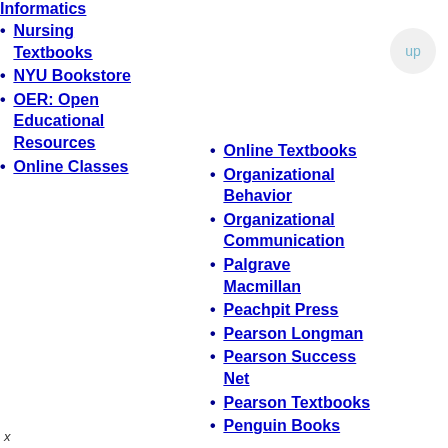Informatics
Nursing Textbooks
NYU Bookstore
OER: Open Educational Resources
Online Classes
Online Textbooks
Organizational Behavior
Organizational Communication
Palgrave Macmillan
Peachpit Press
Pearson Longman
Pearson Success Net
Pearson Textbooks
Penguin Books
x